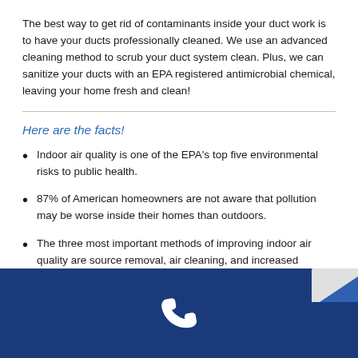The best way to get rid of contaminants inside your duct work is to have your ducts professionally cleaned. We use an advanced cleaning method to scrub your duct system clean. Plus, we can sanitize your ducts with an EPA registered antimicrobial chemical, leaving your home fresh and clean!
Here are the facts!
Indoor air quality is one of the EPA's top five environmental risks to public health.
87% of American homeowners are not aware that pollution may be worse inside their homes than outdoors.
The three most important methods of improving indoor air quality are source removal, air cleaning, and increased ventilation.
[Figure (other): Dark blue footer bar with white telephone/phone icon centered, and a partial logo in the upper right corner of the footer area.]